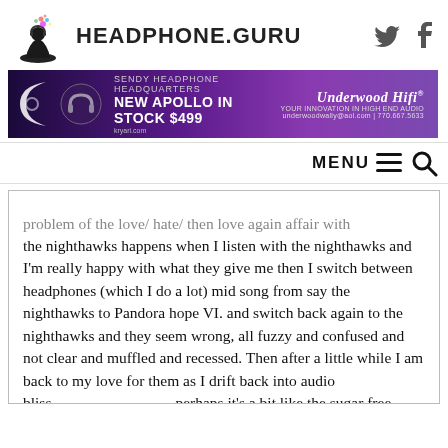[Figure (logo): Headphone.guru logo with meditating figure wearing headphones and colorful splash, beside bold text HEADPHONE.GURU, with Twitter and Facebook icons on the right]
[Figure (photo): Underwood HiFi advertisement banner for Sendy Headphone Headquarters: New Apollo In Stock $499, with purple gradient background and contact info underwoodwally@aol.com | 770.667.5633]
MENU
problem of the love/ hate/ then love again affair with the nighthawks happens when I listen with the nighthawks and I'm really happy with what they give me then I switch between headphones (which I do a lot) mid song from say the nighthawks to Pandora hope VI. and switch back again to the nighthawks and they seem wrong, all fuzzy and confused and not clear and muffled and recessed. Then after a little while I am back to my love for them as I drift back into audio bliss……………………perhaps it's a bit like the sugar free sweets, if you want sugar, then eat it and leave the chemical versions alone. I love my